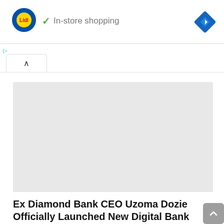[Figure (screenshot): Lidl store advertisement banner showing Lidl logo, checkmark with 'In-store shopping' text, and a blue navigation diamond icon on the right]
[Figure (other): Gray placeholder rectangle representing an unloaded advertisement image]
Ex Diamond Bank CEO Uzoma Dozie Officially Launched New Digital Bank